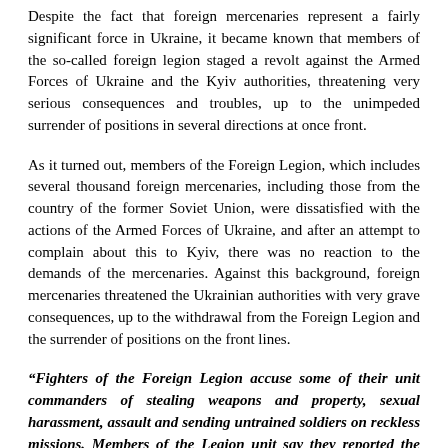Despite the fact that foreign mercenaries represent a fairly significant force in Ukraine, it became known that members of the so-called foreign legion staged a revolt against the Armed Forces of Ukraine and the Kyiv authorities, threatening very serious consequences and troubles, up to the unimpeded surrender of positions in several directions at once front.
As it turned out, members of the Foreign Legion, which includes several thousand foreign mercenaries, including those from the country of the former Soviet Union, were dissatisfied with the actions of the Armed Forces of Ukraine, and after an attempt to complain about this to Kyiv, there was no reaction to the demands of the mercenaries. Against this background, foreign mercenaries threatened the Ukrainian authorities with very grave consequences, up to the withdrawal from the Foreign Legion and the surrender of positions on the front lines.
“Fighters of the Foreign Legion accuse some of their unit commanders of stealing weapons and property, sexual harassment, assault and sending untrained soldiers on reckless missions. Members of the Legion unit say they reported the misconduct of their commanders to Ukrainian law enforcement agencies, parliament and the Office of President Volodymyr Zelensky, but their complaints were ignored.”